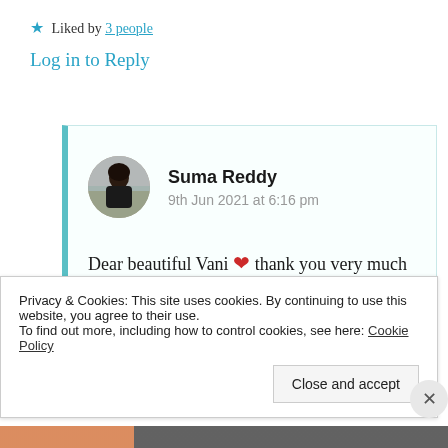★ Liked by 3 people
Log in to Reply
Suma Reddy
9th Jun 2021 at 6:16 pm
Dear beautiful Vani ❤ thank you very much for sharing your lovely thoughts
Privacy & Cookies: This site uses cookies. By continuing to use this website, you agree to their use.
To find out more, including how to control cookies, see here: Cookie Policy
Close and accept